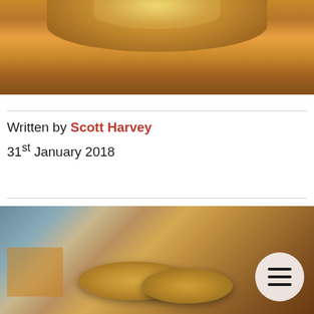[Figure (photo): Close-up photograph of stacked copper/bronze coins on a wooden surface, warm orange-brown tones, top portion visible at top of page.]
Written by Scott Harvey
31st January 2018
[Figure (photo): Photograph of coins on a wooden table with a blurred background. A cookie consent overlay reads: 'This website uses cookies to ensure you get the best experience on our website. Learn more'. A circular hamburger menu button is visible at bottom right.]